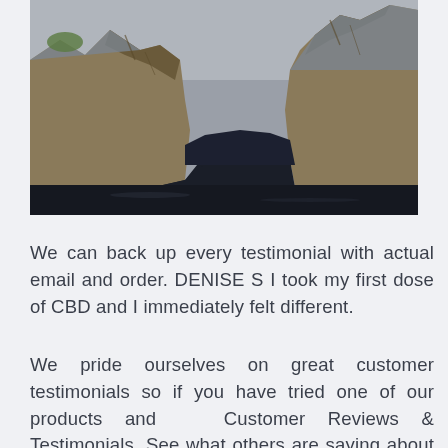[Figure (photo): Aerial or elevated view of a rocky mountain gorge with a dark lake or fjord between steep rugged cliff faces, under a grey sky with mountains in the background.]
We can back up every testimonial with actual email and order. DENISE S I took my first dose of CBD and I immediately felt different.
We pride ourselves on great customer testimonials so if you have tried one of our products and  Customer Reviews & Testimonials. See what others are saying about 43 CBD's all-natural hemp oil. Tell us what you